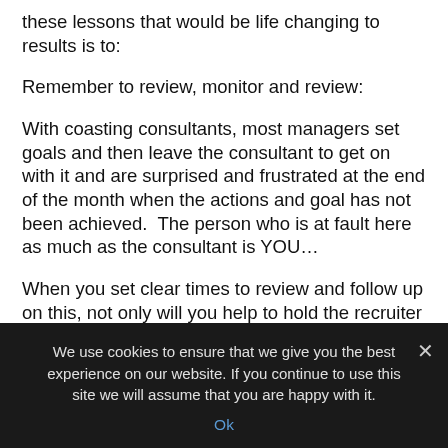these lessons that would be life changing to results is to:
Remember to review, monitor and review:
With coasting consultants, most managers set goals and then leave the consultant to get on with it and are surprised and frustrated at the end of the month when the actions and goal has not been achieved.  The person who is at fault here as much as the consultant is YOU…
When you set clear times to review and follow up on this, not only will you help to hold the recruiter accountable, but if things aren't going as planned
We use cookies to ensure that we give you the best experience on our website. If you continue to use this site we will assume that you are happy with it.
Ok